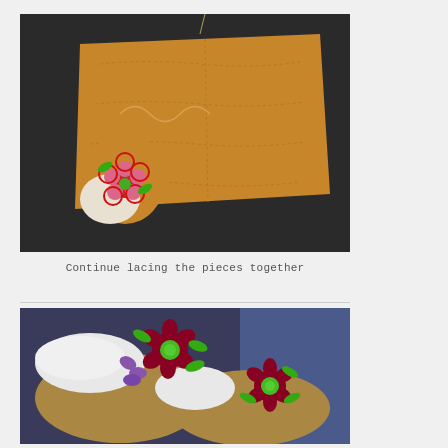[Figure (photo): Close-up photo of tan/brown leather moccasin pieces being laced together on a dark surface. One piece is flat and rectangular with decorative stitching lines, and a small toe piece with beaded floral design (red and pink flower with green leaves) is being attached.]
Continue lacing the pieces together
[Figure (photo): Photo of two completed moccasins with intricate beadwork floral designs. The left moccasin shows dark red/maroon flowers with purple petals, green leaves, and green center beads. The right moccasin shows a similar dark red/maroon floral beadwork pattern. The moccasins have white fur/fleece lining visible.]